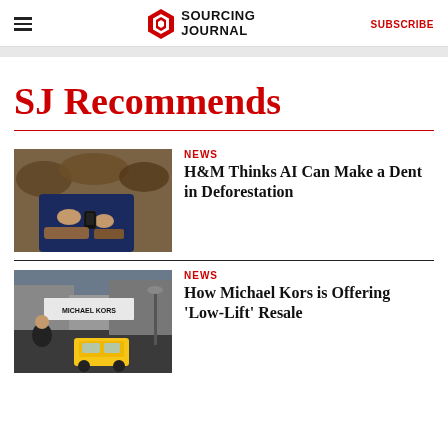Sourcing Journal | SUBSCRIBE
SJ Recommends
NEWS
H&M Thinks AI Can Make a Dent in Deforestation
[Figure (photo): Person examining wood samples indoors]
NEWS
How Michael Kors is Offering 'Low-Lift' Resale
[Figure (photo): Michael Kors storefront on a city street with a taxi visible]